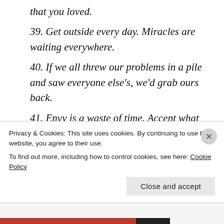that you loved.
39. Get outside every day. Miracles are waiting everywhere.
40. If we all threw our problems in a pile and saw everyone else's, we'd grab ours back.
41. Envy is a waste of time. Accept what you already have, not what you need.
42. The best is yet to come.
43. No matter how you feel, get up
Privacy & Cookies: This site uses cookies. By continuing to use this website, you agree to their use.
To find out more, including how to control cookies, see here: Cookie Policy
Close and accept